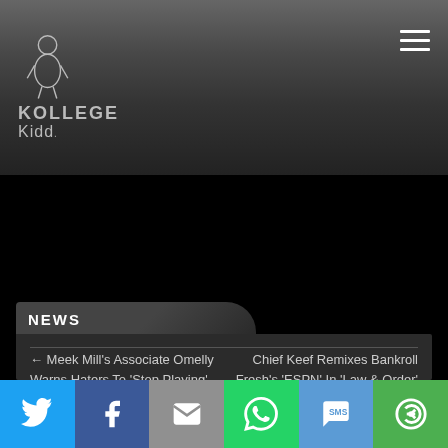KOLLEGE Kidd
NEWS
← Meek Mill's Associate Omelly Warns Haters To 'Stop Playing' With The Dreamchasers
Chief Keef Remixes Bankroll Fresh's 'ESPN' In 'Law & Order' →